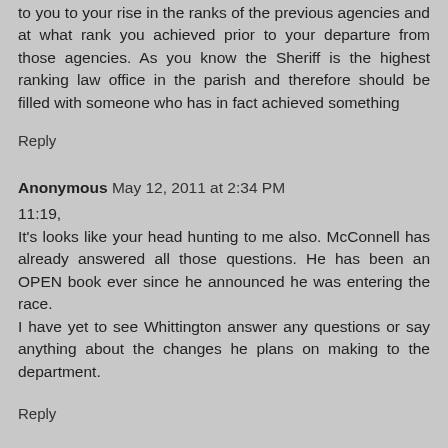to you to your rise in the ranks of the previous agencies and at what rank you achieved prior to your departure from those agencies. As you know the Sheriff is the highest ranking law office in the parish and therefore should be filled with someone who has in fact achieved something
Reply
Anonymous May 12, 2011 at 2:34 PM
11:19,
It's looks like your head hunting to me also. McConnell has already answered all those questions. He has been an OPEN book ever since he announced he was entering the race.
I have yet to see Whittington answer any questions or say anything about the changes he plans on making to the department.
Reply